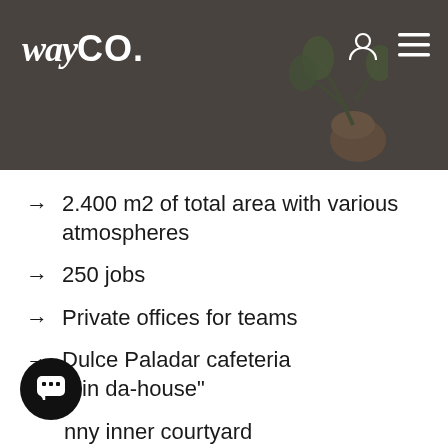[Figure (photo): wayCO. coworking space header with logo and dark overlay showing interior room with plant]
2.400 m2 of total area with various atmospheres
250 jobs
Private offices for teams
Dulce Paladar cafeteria "in da-house"
nny inner courtyard
Individual booths for video calls